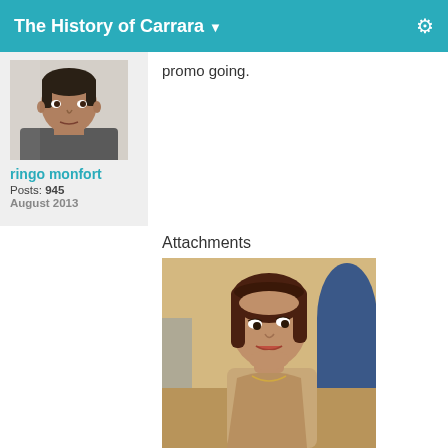The History of Carrara
[Figure (photo): Profile photo of a man facing forward, close-up head shot against a light background]
ringo monfort
Posts: 945
August 2013
promo going.
Attachments
[Figure (photo): 3D rendered image of a woman with a brown bob haircut, looking slightly downward, indoor background]